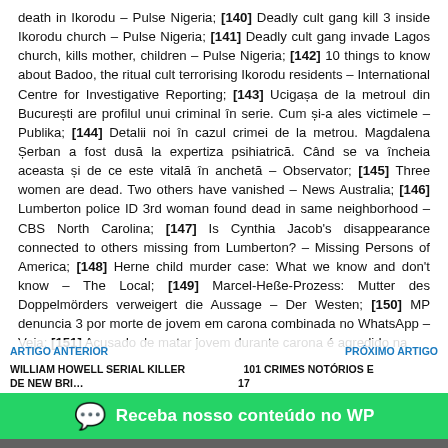death in Ikorodu – Pulse Nigeria; [140] Deadly cult gang kill 3 inside Ikorodu church – Pulse Nigeria; [141] Deadly cult gang invade Lagos church, kills mother, children – Pulse Nigeria; [142] 10 things to know about Badoo, the ritual cult terrorising Ikorodu residents – International Centre for Investigative Reporting; [143] Ucigașa de la metroul din București are profilul unui criminal în serie. Cum și-a ales victimele – Publika; [144] Detalii noi în cazul crimei de la metrou. Magdalena Șerban a fost dusă la expertiza psihiatrică. Când se va încheia aceasta și de ce este vitală în anchetă – Observator; [145] Three women are dead. Two others have vanished – News Australia; [146] Lumberton police ID 3rd woman found dead in same neighborhood – CBS North Carolina; [147] Is Cynthia Jacob's disappearance connected to others missing from Lumberton? – Missing Persons of America; [148] Herne child murder case: What we know and don't know – The Local; [149] Marcel-Heße-Prozess: Mutter des Doppelmörders verweigert die Aussage – Der Westen; [150] MP denuncia 3 por morte de jovem em carona combinada no WhatsApp – Veja; [151] Acusado de matar jovem durante carona é agredido na
ARTIGO ANTERIOR | PRÓXIMO ARTIGO
WILLIAM HOWELL SERIAL KILLER ... 101 CRIMES NOTÓRIOS E DE NEW BRI... ... 17 SENTENCIADO... PRISÃO
[Figure (screenshot): WhatsApp call-to-action banner: 'Receba nosso conteúdo no WP' with WhatsApp logo icon, green background.]